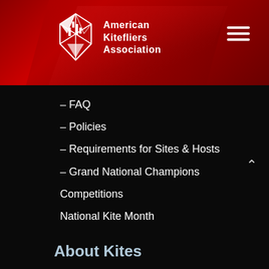[Figure (logo): American Kitefliers Association logo with white kite/shield emblem and text 'American Kitefliers Association' on dark red header background with hamburger menu icon]
– FAQ
– Policies
– Requirements for Sites & Hosts
– Grand National Champions
Competitions
National Kite Month
About Kites
The Joy of Kites
History of Kites
What is a Kite?
How do Kites Fly?
Kinds of Kites
How to Fly a Kite